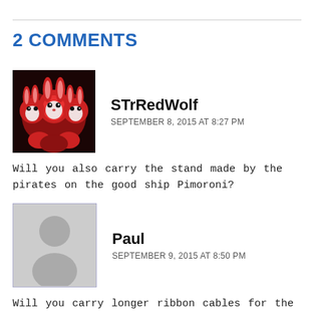2 COMMENTS
[Figure (illustration): Avatar image of STrRedWolf showing stylized red and white rabbit/wolf characters]
STrRedWolf
SEPTEMBER 8, 2015 AT 8:27 PM
Will you also carry the stand made by the pirates on the good ship Pimoroni?
[Figure (illustration): Generic grey placeholder avatar silhouette for user Paul]
Paul
SEPTEMBER 9, 2015 AT 8:50 PM
Will you carry longer ribbon cables for the display like you carry longer ribbon cables for the camera module?